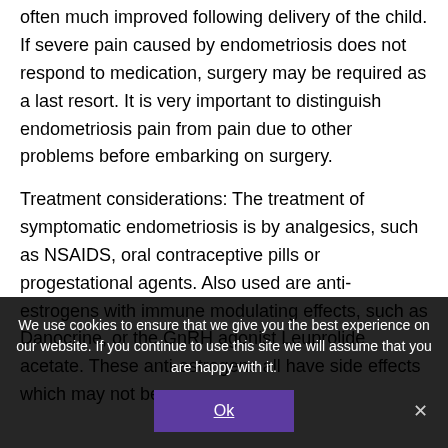often much improved following delivery of the child. If severe pain caused by endometriosis does not respond to medication, surgery may be required as a last resort. It is very important to distinguish endometriosis pain from pain due to other problems before embarking on surgery.
Treatment considerations: The treatment of symptomatic endometriosis is by analgesics, such as NSAIDS, oral contraceptive pills or progestational agents. Also used are anti-estrogens with immune modulating effects, such as Danocrine, or the GnRH agonist Leuprolide acetate. These anti-estrogens all have side effects which may not be
We use cookies to ensure that we give you the best experience on our website. If you continue to use this site we will assume that you are happy with it.
Ok